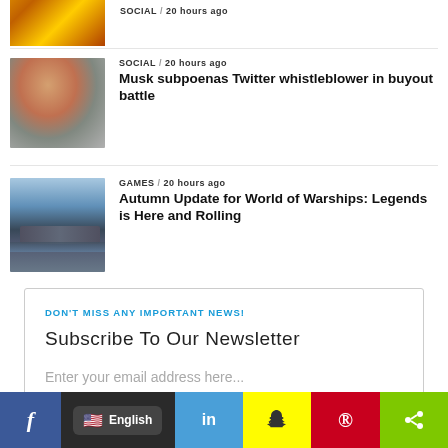[Figure (photo): Crowd scene thumbnail (partially visible at top)]
SOCIAL / 20 hours ago
Musk subpoenas Twitter whistleblower in buyout battle
[Figure (photo): Photo of Elon Musk]
GAMES / 20 hours ago
Autumn Update for World of Warships: Legends is Here and Rolling
[Figure (photo): Photo of a warship at sea]
DON'T MISS ANY IMPORTANT NEWS!
Subscribe To Our Newsletter
Enter your email address here...